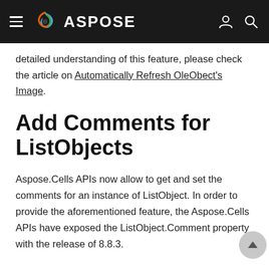ASPOSE
detailed understanding of this feature, please check the article on Automatically Refresh OleObect's Image.
Add Comments for ListObjects
Aspose.Cells APIs now allow to get and set the comments for an instance of ListObject. In order to provide the aforementioned feature, the Aspose.Cells APIs have exposed the ListObject.Comment property with the release of 8.8.3.